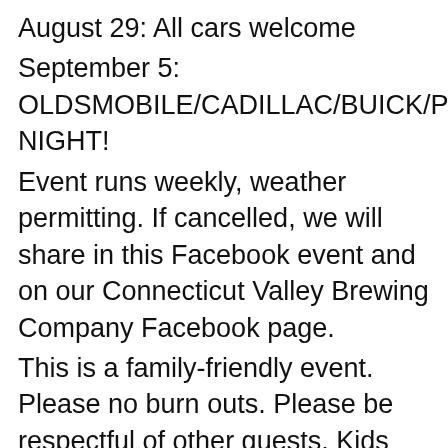August 29: All cars welcome
September 5: OLDSMOBILE/CADILLAC/BUICK/PONTIAC NIGHT!
Event runs weekly, weather permitting. If cancelled, we will share in this Facebook event and on our Connecticut Valley Brewing Company Facebook page.
This is a family-friendly event. Please no burn outs. Please be respectful of other guests. Kids must stay with parents at all times. Dogs must remain leashed and at the responsibility of their owners.
All event questions can be emailed to